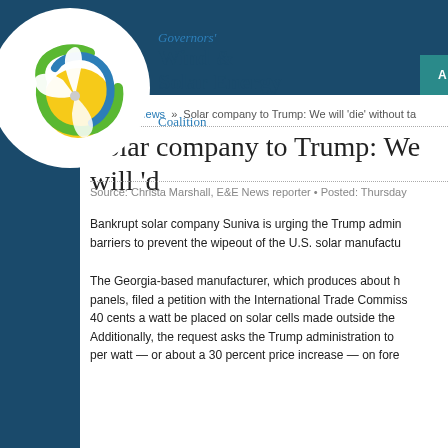[Figure (logo): Governors' Wind & Solar Energy Coalition logo — circular emblem with wind turbine blade, sun and green swoosh, with organization name text]
ABOUT   MEMBERS   PUB
Home » News » Solar company to Trump: We will 'die' without ta
Solar company to Trump: We will 'd
Source: Christa Marshall, E&E News reporter • Posted: Thursday
Bankrupt solar company Suniva is urging the Trump admin barriers to prevent the wipeout of the U.S. solar manufactu
The Georgia-based manufacturer, which produces about h panels, filed a petition with the International Trade Commiss 40 cents a watt be placed on solar cells made outside the Additionally, the request asks the Trump administration to per watt — or about a 30 percent price increase — on fore